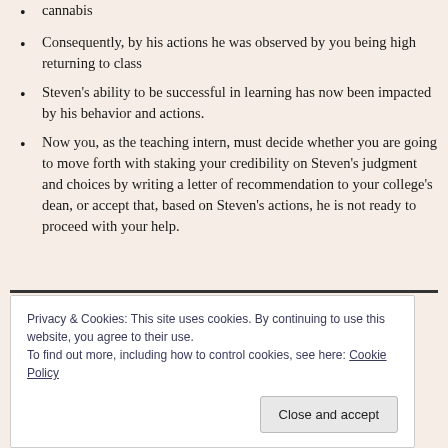cannabis
Consequently, by his actions he was observed by you being high returning to class
Steven's ability to be successful in learning has now been impacted by his behavior and actions.
Now you, as the teaching intern, must decide whether you are going to move forth with staking your credibility on Steven's judgment and choices by writing a letter of recommendation to your college's dean, or accept that, based on Steven's actions, he is not ready to proceed with your help.
Privacy & Cookies: This site uses cookies. By continuing to use this website, you agree to their use.
To find out more, including how to control cookies, see here: Cookie Policy